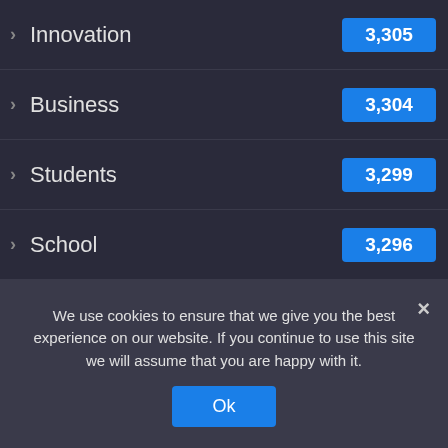Innovation 3,305
Business 3,304
Students 3,299
School 3,296
Tourism 3,295
Learn Languages 3,293
Markets 3,286
Insurance 3,271
Investment 3,271
Company 3,269
We use cookies to ensure that we give you the best experience on our website. If you continue to use this site we will assume that you are happy with it.
Ok